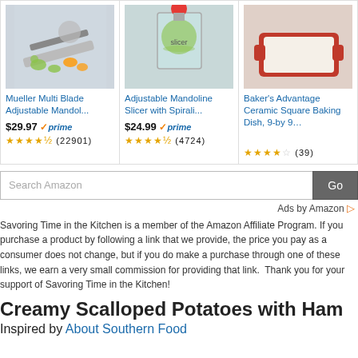[Figure (other): Three Amazon product cards: Mueller Multi Blade Adjustable Mandoline slicer, Adjustable Mandoline Slicer with Spiralizer, and Baker's Advantage Ceramic Square Baking Dish]
Mueller Multi Blade Adjustable Mandol... $29.97 prime ★★★★½ (22901)
Adjustable Mandoline Slicer with Spirali... $24.99 prime ★★★★½ (4724)
Baker's Advantage Ceramic Square Baking Dish, 9-by 9... ★★★★☆ (39)
[Figure (screenshot): Search Amazon search bar with Go button]
Ads by Amazon ▷
Savoring Time in the Kitchen is a member of the Amazon Affiliate Program. If you purchase a product by following a link that we provide, the price you pay as a consumer does not change, but if you do make a purchase through one of these links, we earn a very small commission for providing that link.  Thank you for your support of Savoring Time in the Kitchen!
Creamy Scalloped Potatoes with Ham
Inspired by About Southern Food